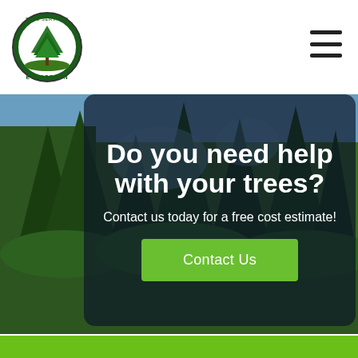[Figure (logo): Evergreen tree services circular logo with a pine tree illustration]
[Figure (photo): Forest background photo showing tall pine/evergreen trees against a blue sky]
Do you need help with your trees?
Contact us today for a free cost estimate!
Contact Us